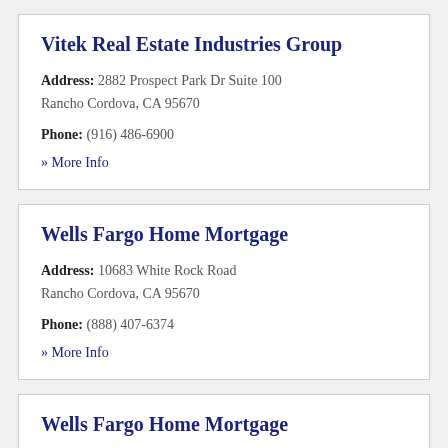Vitek Real Estate Industries Group
Address: 2882 Prospect Park Dr Suite 100 Rancho Cordova, CA 95670
Phone: (916) 486-6900
» More Info
Wells Fargo Home Mortgage
Address: 10683 White Rock Road Rancho Cordova, CA 95670
Phone: (888) 407-6374
» More Info
Wells Fargo Home Mortgage